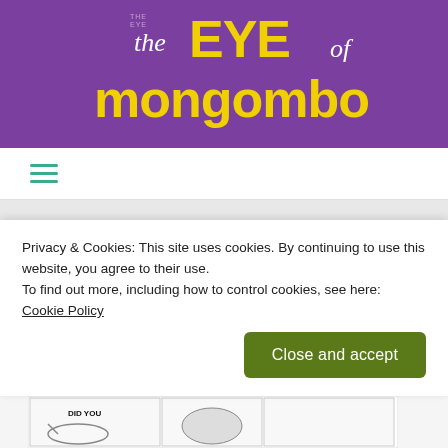[Figure (logo): The Eye of Mongombo logo on purple background — stylized text with yellow/gold and white lettering]
☰ (hamburger menu icon)
watchdog_02
[Figure (illustration): Comic strip panels showing black and white cartoon characters with speech bubbles: 'WHOSE FAULT WAS THAT? I NEVER ACTUALLY SAID I COULD OPERATE A FERRIS WHEEL!', 'THOSE POOR KIDS!', 'OKAY, YOU MAY HAVE A POINT!', 'BUT, WHEN WAS THE LAST TIME YOU EVEN LOOKED FOR WORK?', 'WHAT']
Privacy & Cookies: This site uses cookies. By continuing to use this website, you agree to their use.
To find out more, including how to control cookies, see here: Cookie Policy
Close and accept
[Figure (illustration): Comic strip bottom panels, partially visible, black and white cartoon characters, one panel shows 'DID YOU']